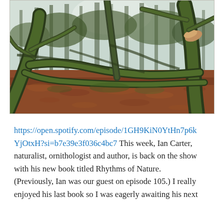[Figure (photo): A moody forest scene with gnarled, moss-covered trees and twisted branches spreading across a forest floor covered in reddish-brown fallen leaves. The trees have thick trunks with bright green moss, and sunlight filters through the canopy overhead.]
https://open.spotify.com/episode/1GH9KiN0YtHn7p6kYjOtxH?si=b7e39e3f036c4bc7 This week, Ian Carter, naturalist, ornithologist and author, is back on the show with his new book titled Rhythms of Nature. (Previously, Ian was our guest on episode 105.) I really enjoyed his last book so I was eagerly awaiting his next